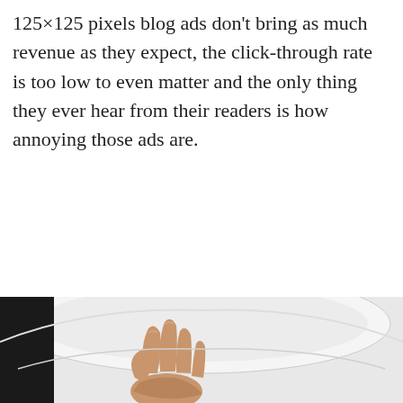125×125 pixels blog ads don't bring as much revenue as they expect, the click-through rate is too low to even matter and the only thing they ever hear from their readers is how annoying those ads are.
[READ MORE...]
FILED UNDER: ADVERTISING, FEATURED
[Figure (photo): A hand reaching up from inside a toilet bowl, with spread fingers visible against a white ceramic toilet background.]